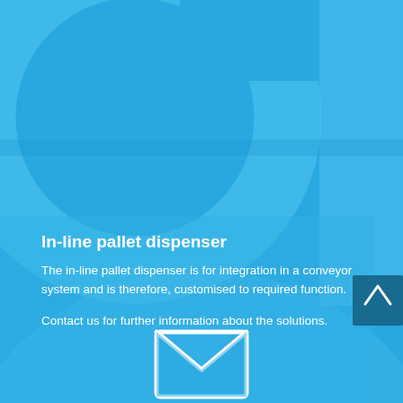[Figure (illustration): Blue background with circular gear/arc decorative elements in lighter blue tones, forming a stylized mechanical/industrial background. A darker blue rectangle on the top right. A large arc circle visible in the lower portion of the background.]
In-line pallet dispenser
The in-line pallet dispenser is for integration in a conveyor system and is therefore, customised to required function.
Contact us for further information about the solutions.
[Figure (illustration): White envelope/email icon at the bottom center of the page]